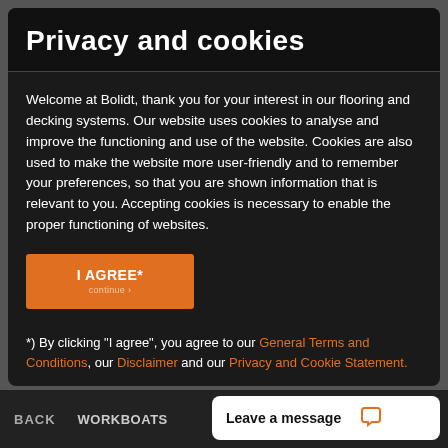Privacy and cookies
Welcome at Bolidt, thank you for your interest in our flooring and decking systems. Our website uses cookies to analyse and improve the functioning and use of the website. Cookies are also used to make the website more user-friendly and to remember your preferences, so that you are shown information that is relevant to you. Accepting cookies is necessary to enable the proper functioning of websites.
I AGREE*
*) By clicking "I agree", you agree to our General Terms and Conditions, our Disclaimer and our Privacy and Cookie Statement.
BACK   WORKBOATS   Leave a message